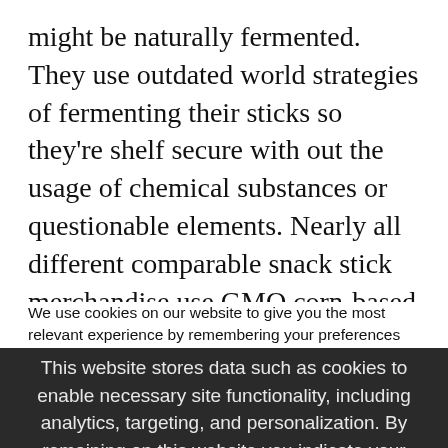might be naturally fermented. They use outdated world strategies of fermenting their sticks so they're shelf secure with out the usage of chemical substances or questionable elements. Nearly all different comparable snack stick merchandise use GMO corn-based citric acid encapsulated in hydrogenated oils to course of their merchandise. Due to this fermentation course of, they don't have any of that junk and every stick incorporates gut-friendly probiotics! My youngsters love them and I
We use cookies on our website to give you the most relevant experience by remembering your preferences and repeat visits. By clicking "Accept All", you consent to the use of ALL the cookies. However, you may visit "Cookie Settings" to provide a controlled consent.
This website stores data such as cookies to enable necessary site functionality, including analytics, targeting, and personalization. By remaining on this website you indicate your consent Cookie Policy